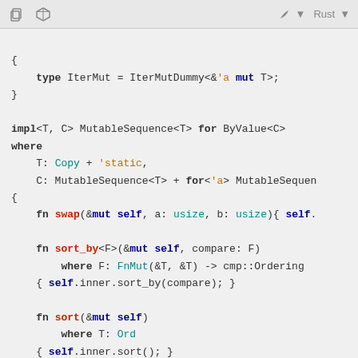toolbar with icons and Rust language selector
{
    type IterMut = IterMutDummy<&'a mut T>;
}

impl<T, C> MutableSequence<T> for ByValue<C>
where
    T: Copy + 'static,
    C: MutableSequence<T> + for<'a> MutableSequen
{
    fn swap(&mut self, a: usize, b: usize){ self.

    fn sort_by<F>(&mut self, compare: F)
        where F: FnMut(&T, &T) -> cmp::Ordering
    { self.inner.sort_by(compare); }

    fn sort(&mut self)
        where T: Ord
    { self.inner.sort(); }
}

impl<T, C> GrowableSequence<T> for ByValue<C>